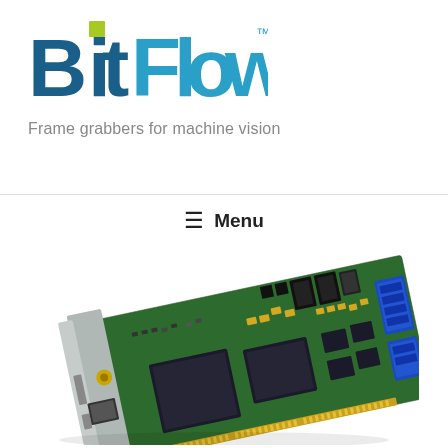[Figure (logo): BitFlow logo with yellow-green square dot in 'i', blue text, and TM trademark symbol]
Frame grabbers for machine vision
≡  Menu
[Figure (photo): BitFlow frame grabber PCIe card with green PCB, multiple connectors including blue SATA connectors, black connectors, DB15 port, BNC connector, and large FPGA chips]